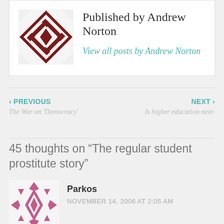[Figure (logo): Dark red geometric diamond/cross pattern avatar for Andrew Norton]
Published by Andrew Norton
View all posts by Andrew Norton
‹ PREVIOUS
The War on 'Democracy'
NEXT ›
Is higher education next?
45 thoughts on “The regular student prostitute story”
[Figure (illustration): Pink/magenta geometric diamond pattern avatar for commenter Parkos]
Parkos
NOVEMBER 14, 2006 AT 2:05 AM